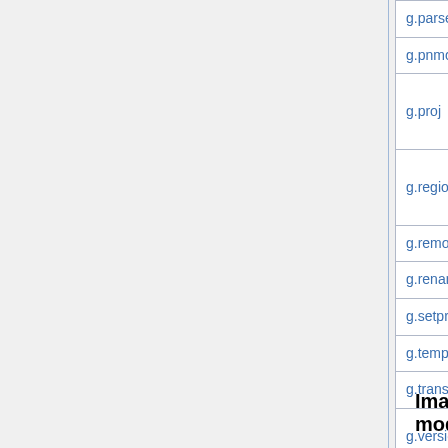| Module |  |  |  |
| --- | --- | --- | --- |
| g.parser |  |  | Not r... |
| g.pnmcomp |  |  | Not r... |
| g.proj |  | common x7 | gene... geo,... proj... |
| g.region |  | common x4 | save... multi... multi... |
| g.remove |  |  |  |
| g.rename |  |  |  |
| g.setproj |  |  |  |
| g.tempfile |  |  | Not r... |
| g.transform |  | common |  |
| g.version |  |  | Not r... relev... |
Imagery modules